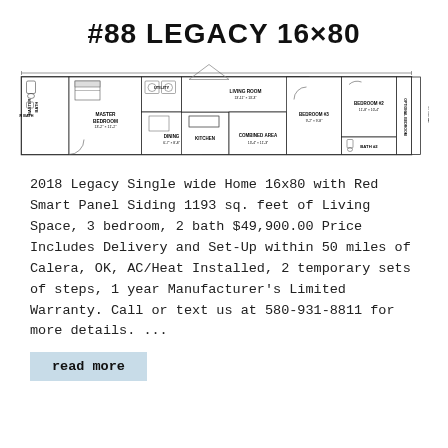#88 LEGACY 16×80
[Figure (engineering-diagram): Floor plan of #88 Legacy 16x80 single wide mobile home showing Master Bath, Master Bedroom, Utility, Living Room, Dining, Kitchen, Combined Area, Bedroom #3, Bedroom #2, Bath #2, and Optional bedroom area]
2018 Legacy Single wide Home 16x80 with Red Smart Panel Siding 1193 sq. feet of Living Space, 3 bedroom, 2 bath $49,900.00 Price Includes Delivery and Set-Up within 50 miles of Calera, OK, AC/Heat Installed, 2 temporary sets of steps, 1 year Manufacturer's Limited Warranty. Call or text us at 580-931-8811 for more details. ...
read more